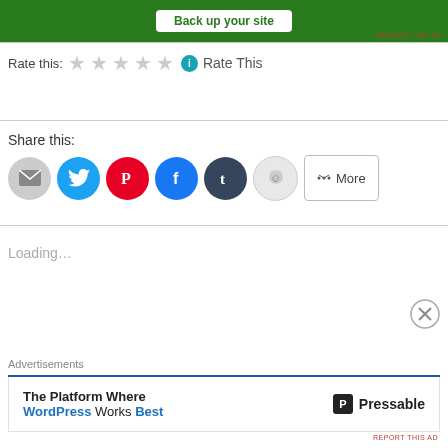[Figure (screenshot): Green advertisement banner with 'Back up your site' button and 'REPORT THIS AD' link]
Rate this: ☆☆☆☆☆ ℹ Rate This
Share this:
[Figure (infographic): Social share buttons: Email, Twitter, Pinterest, Facebook, Tumblr, Reddit, More]
Loading...
Advertisements
[Figure (screenshot): Pressable advertisement: 'The Platform Where WordPress Works Best' with Pressable logo]